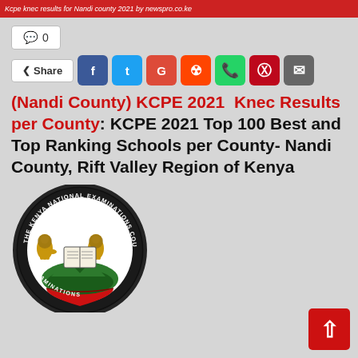Kcpe knec results for Nandi county 2021 by newspro.co.ke
0
Share
(Nandi County) KCPE 2021 Knec Results per County: KCPE 2021 Top 100 Best and Top Ranking Schools per County- Nandi County, Rift Valley Region of Kenya
[Figure (logo): The Kenya National Examinations Council (KNEC) official seal/logo featuring two lions, a shield, mountains, and text around the circular border.]